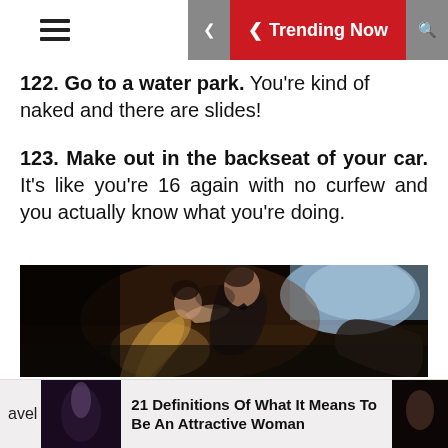≡  ❮ Trending Now  🔍
122. Go to a water park. You're kind of naked and there are slides!
123. Make out in the backseat of your car. It's like you're 16 again with no curfew and you actually know what you're doing.
[Figure (photo): Two people kissing in the backseat of a car, dark cinematic lighting, woman in a gold/beige dress, man in formal attire with bow tie]
avel  21 Definitions Of What It Means To Be An Attractive Woman